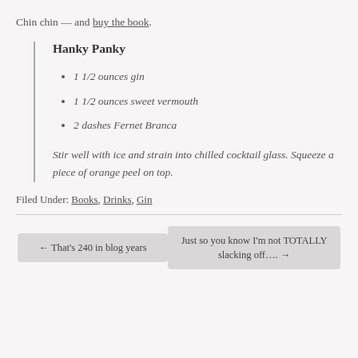Chin chin — and buy the book.
Hanky Panky
1 1/2 ounces gin
1 1/2 ounces sweet vermouth
2 dashes Fernet Branca
Stir well with ice and strain into chilled cocktail glass. Squeeze a piece of orange peel on top.
Filed Under: Books, Drinks, Gin
← That's 240 in blog years
Just so you know I'm not TOTALLY slacking off…. →